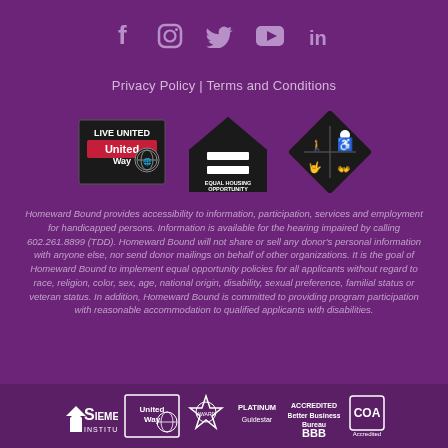[Figure (infographic): Social media icons row: Facebook, Instagram, Twitter, YouTube, LinkedIn — light purple on purple background]
Privacy Policy | Terms and Conditions
[Figure (infographic): Three logos: Live United / United Way badge, Equal Housing Opportunity logo, and a disability accessibility diamond logo]
Homeward Bound provides accessibility to information, participation, services and employment for handicapped persons. Information is available for the hearing impaired by calling 602.261.8899 (TDD). Homeward Bound will not share or sell any donor's personal information with anyone else, nor send donor mailings on behalf of other organizations. It is the goal of Homeward Bound to implement equal opportunity policies for all applicants without regard to race, religion, color, sex, age, national origin, disability, sexual preference, familial status or veteran status. In addition, Homeward Bound is committed to providing program participation with reasonable accommodation to qualified applicants with disabilities.
[Figure (infographic): Bottom accreditation logos: Siemer Institute, United Way, award seal, Platinum Guidestar, BBB Accredited Better Business Bureau, COA Accredited]